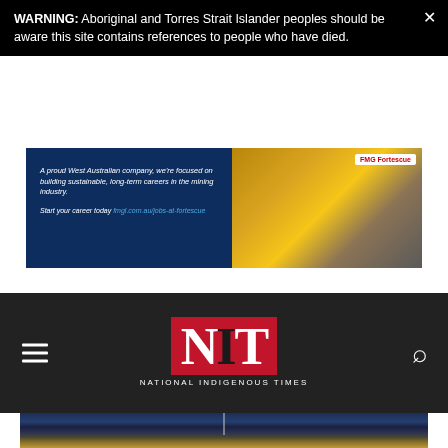WARNING: Aboriginal and Torres Strait Islander peoples should be aware this site contains references to people who have died.
[Figure (photo): FMG Fortescue advertisement banner showing two mine workers in yellow high-visibility gear and white hard hats, with text about building sustainable careers in the mining industry.]
[Figure (logo): National Indigenous Times (NIT) logo on dark navigation bar with hamburger menu on left and search icon on right.]
[Figure (photo): Nighttime photo of Australian Parliament House in Canberra, illuminated against a dark blue cloudy sky.]